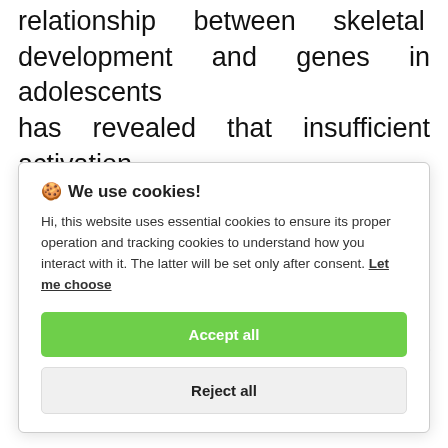relationship between skeletal development and genes in adolescents has revealed that insufficient activation of growth genes in adolescents is the root cause of slow growth due to acquired factors. Instead, only a specific
🍪 We use cookies!

Hi, this website uses essential cookies to ensure its proper operation and tracking cookies to understand how you interact with it. The latter will be set only after consent. Let me choose

[Accept all] [Reject all]